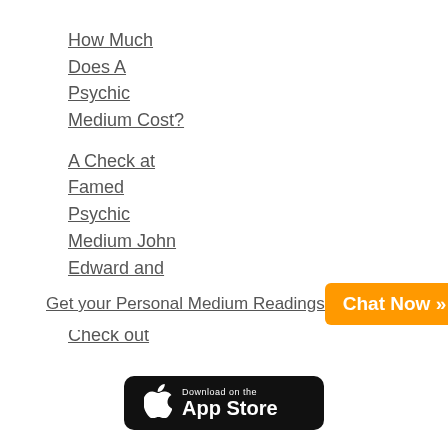How Much
Does A
Psychic
Medium Cost?
A Check at
Famed
Psychic
Medium John
Edward and
His Work
Check out
Get your Personal Medium Readings
Chat Now »
[Figure (other): Download on the App Store button]